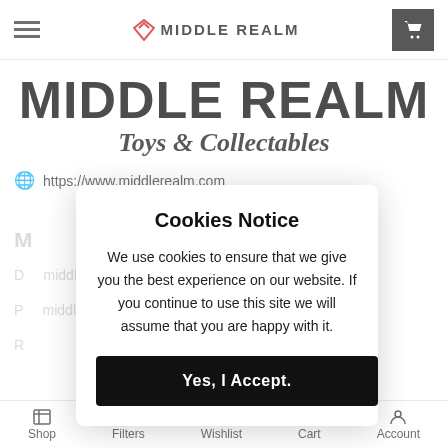MIDDLE REALM
MIDDLE REALM
Toys & Collectables
https://www.middlerealm.com
Cookies Notice
We use cookies to ensure that we give you the best experience on our website. If you continue to use this site we will assume that you are happy with it.
Yes, I Accept.
Shop   Filters   Wishlist   Cart   Account